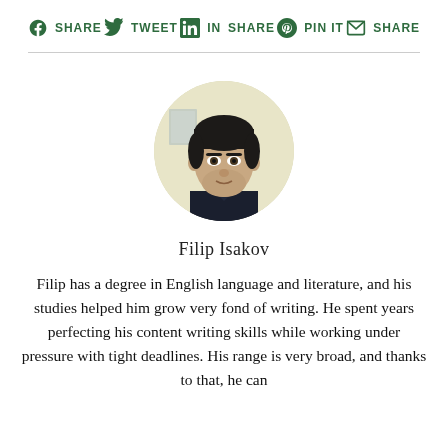SHARE  TWEET  in SHARE  PIN IT  SHARE
[Figure (photo): Circular profile photo of Filip Isakov, a young man with short dark hair wearing a dark collared shirt, light background]
Filip Isakov
Filip has a degree in English language and literature, and his studies helped him grow very fond of writing. He spent years perfecting his content writing skills while working under pressure with tight deadlines. His range is very broad, and thanks to that, he can